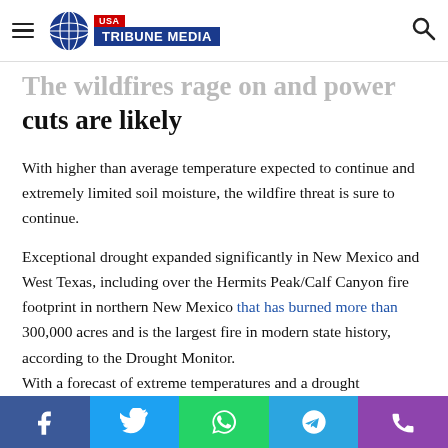USA Tribune Media
The wildfires rage on and power cuts are likely
With higher than average temperature expected to continue and extremely limited soil moisture, the wildfire threat is sure to continue.
Exceptional drought expanded significantly in New Mexico and West Texas, including over the Hermits Peak/Calf Canyon fire footprint in northern New Mexico that has burned more than 300,000 acres and is the largest fire in modern state history, according to the Drought Monitor.
With a forecast of extreme temperatures and a drought